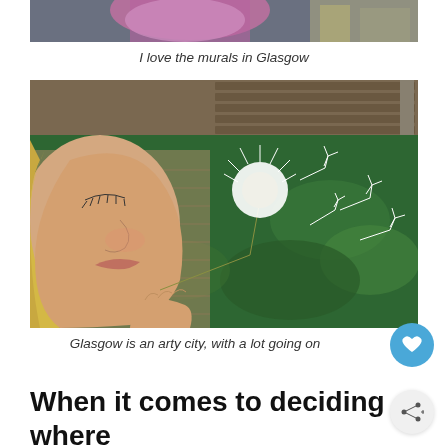[Figure (photo): Top portion of a Glasgow mural showing purple/pink artwork — partial crop at top of page]
I love the murals in Glasgow
[Figure (photo): Street mural in Glasgow showing a girl blowing a dandelion with seeds turning into wind turbines, painted on a brick wall]
Glasgow is an arty city, with a lot going on
When it comes to deciding where